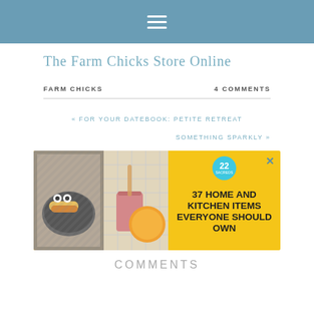≡ (hamburger menu)
The Farm Chicks Store Online
FARM CHICKS    4 COMMENTS
« FOR YOUR DATEBOOK: PETITE RETREAT
SOMETHING SPARKLY »
[Figure (screenshot): Advertisement banner with yellow background showing food/kitchen images on left and text '37 HOME AND KITCHEN ITEMS EVERYONE SHOULD OWN' with a teal badge showing '22 SACREDS' and a close button]
COMMENTS